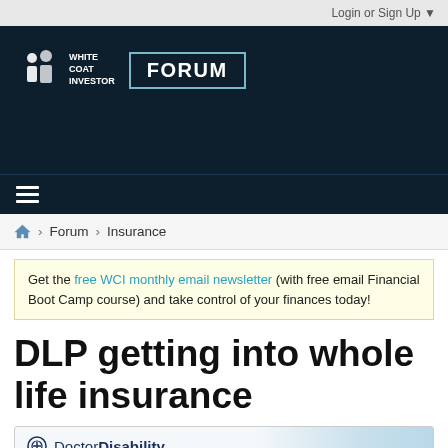Login or Sign Up ▼
[Figure (logo): White Coat Investor Forum logo in dark navy header]
≡ (hamburger menu)
🏠 > Forum > Insurance
Get the free WCI monthly email newsletter (with free email Financial Boot Camp course) and take control of your finances today!
DLP getting into whole life insurance
[Figure (illustration): DoctorDisability ad banner with logo and 'Protect Your Income' text, showing a doctor in background]